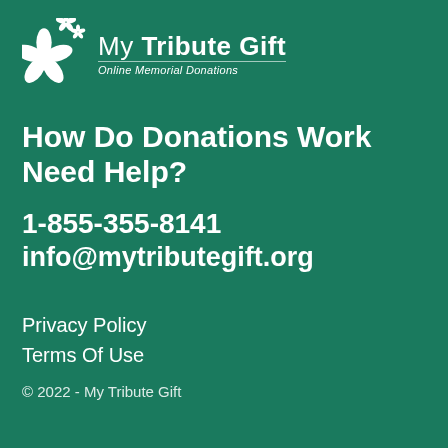[Figure (logo): My Tribute Gift logo with white cherry blossom flowers and text 'My Tribute Gift - Online Memorial Donations' on green background]
How Do Donations Work
Need Help?
1-855-355-8141
info@mytributegift.org
Privacy Policy
Terms Of Use
© 2022 - My Tribute Gift